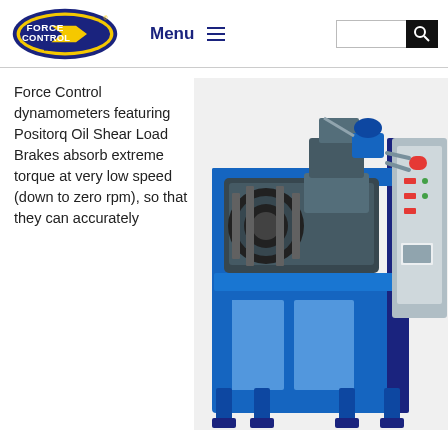Force Control — Menu — Search
Force Control dynamometers featuring Positorq Oil Shear Load Brakes absorb extreme torque at very low speed (down to zero rpm), so that they can accurately
[Figure (photo): Blue industrial dynamometer machine with oil shear load brake, control panel on right side, mounted on blue steel frame]